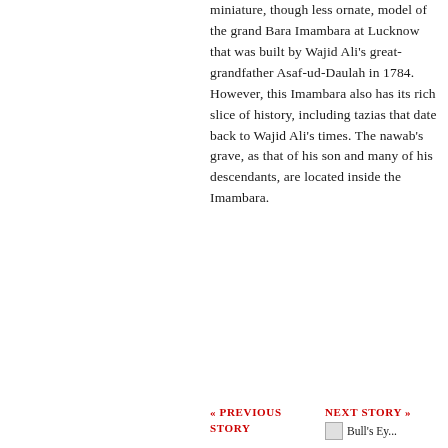miniature, though less ornate, model of the grand Bara Imambara at Lucknow that was built by Wajid Ali's great-grandfather Asaf-ud-Daulah in 1784. However, this Imambara also has its rich slice of history, including tazias that date back to Wajid Ali's times. The nawab's grave, as that of his son and many of his descendants, are located inside the Imambara.
« PREVIOUS STORY
NEXT STORY »
Bull's Ey...